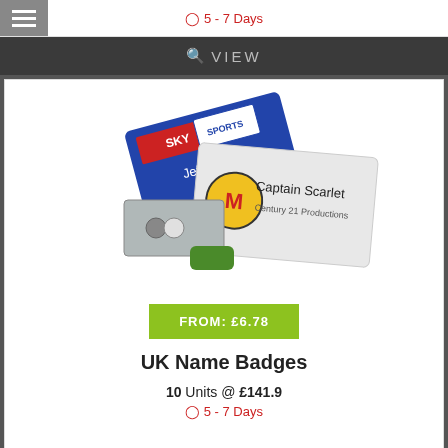5 - 7 Days
VIEW
[Figure (photo): UK Name Badges product image showing two printed name badges with logos (Sky Sports with Jeff Stelling, Captain Scarlet Century 21 Productions), a metal badge holder, and a green rubber magnet fastener]
FROM: £6.78
UK Name Badges
10 Units @ £141.9
5 - 7 Days